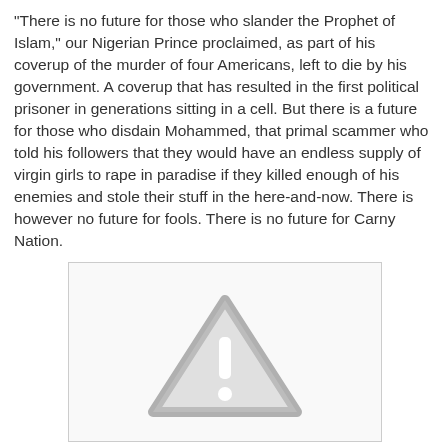"There is no future for those who slander the Prophet of Islam," our Nigerian Prince proclaimed, as part of his coverup of the murder of four Americans, left to die by his government. A coverup that has resulted in the first political prisoner in generations sitting in a cell. But there is a future for those who disdain Mohammed, that primal scammer who told his followers that they would have an endless supply of virgin girls to rape in paradise if they killed enough of his enemies and stole their stuff in the here-and-now. There is however no future for fools. There is no future for Carny Nation.
[Figure (other): A warning/caution triangle icon with an exclamation mark, rendered in gray, inside a light gray bordered rectangle box.]